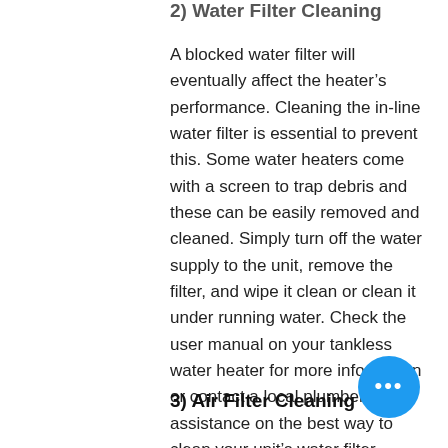2) Water Filter Cleaning
A blocked water filter will eventually affect the heater’s performance. Cleaning the in-line water filter is essential to prevent this. Some water heaters come with a screen to trap debris and these can be easily removed and cleaned. Simply turn off the water supply to the unit, remove the filter, and wipe it clean or clean it under running water. Check the user manual on your tankless water heater for more information or contact a local plumber for assistance on the best way to clean your unit’s water filter.
3) Air Filter Cleaning